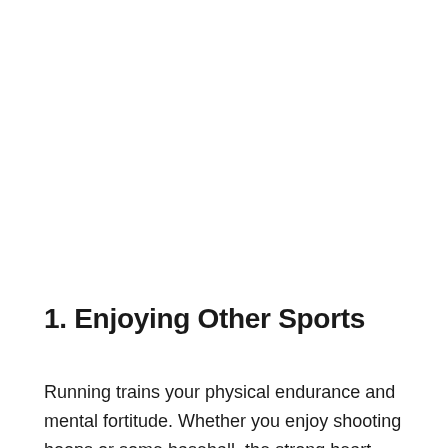1. Enjoying Other Sports
Running trains your physical endurance and mental fortitude. Whether you enjoy shooting hoops or some baseball, the strong heart and good lungs that you've